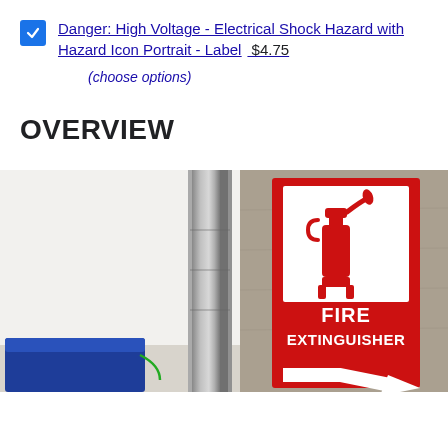Danger: High Voltage - Electrical Shock Hazard with Hazard Icon Portrait - Label  $4.75
(choose options)
OVERVIEW
[Figure (photo): Photo of a red fire extinguisher sign mounted on a concrete wall, with a white icon of a fire extinguisher on top and bold white text reading FIRE EXTINGUISHER at the bottom. A metal pipe is visible to the left and blue equipment at the bottom left.]